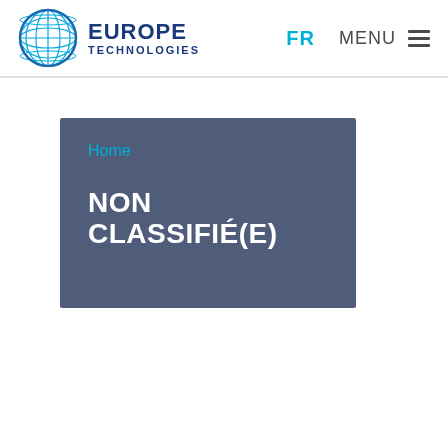EUROPE TECHNOLOGIES | FR | MENU
[Figure (logo): Europe Technologies globe logo with blue grid sphere and company name in dark blue text]
Home
NON CLASSIFIÉ(E)